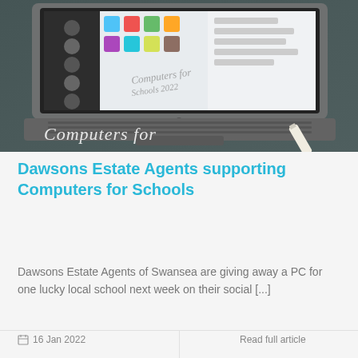[Figure (photo): Photo of an HP laptop open on a dark chalkboard surface with the text 'Computers for Schools 2022' written on both the chalkboard and visible on the laptop screen. A piece of chalk is also visible in the bottom right corner.]
Dawsons Estate Agents supporting Computers for Schools
Dawsons Estate Agents of Swansea are giving away a PC for one lucky local school next week on their social [...]
16 Jan 2022   Read full article